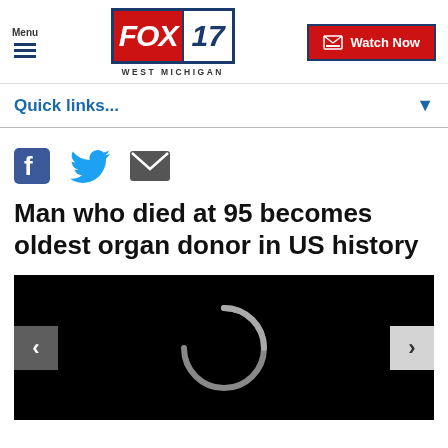[Figure (screenshot): FOX 17 West Michigan logo with red FOX text and blue 17 on white background, framed with blue border]
Menu  FOX 17 WEST MICHIGAN  Watch Now
Quick links...
Man who died at 95 becomes oldest organ donor in US history
[Figure (screenshot): Video media player area, black background with loading spinner arc, left and right navigation arrows]